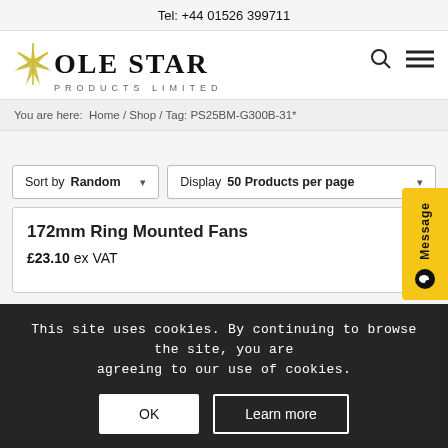Tel: +44 01526 399711
[Figure (logo): Pole Star Products Limited logo with star icon, search and menu icons]
You are here: Home / Shop / Tag: PS25BM-G300B-31*
Sort by Random | Display 50 Products per page
172mm Ring Mounted Fans
£23.10 ex VAT
This site uses cookies. By continuing to browse the site, you are agreeing to our use of cookies.